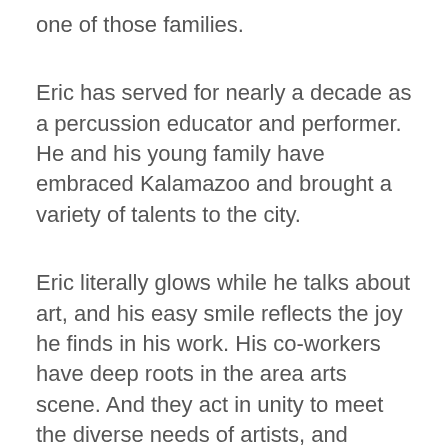one of those families.
Eric has served for nearly a decade as a percussion educator and performer. He and his young family have embraced Kalamazoo and brought a variety of talents to the city.
Eric literally glows while he talks about art, and his easy smile reflects the joy he finds in his work. His co-workers have deep roots in the area arts scene. And they act in unity to meet the diverse needs of artists, and create a community surrounding the arts.